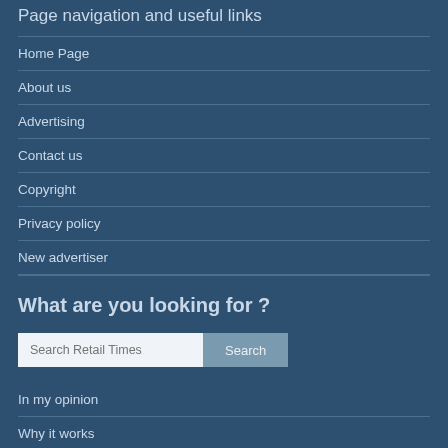Page navigation and useful links
Home Page
About us
Advertising
Contact us
Copyright
Privacy policy
New advertiser
What are you looking for ?
Search Retail Times | Search
In my opinion
Why it works